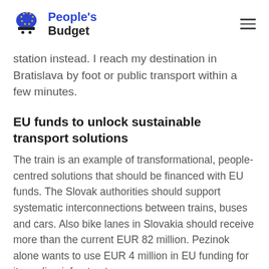People's Budget
station instead. I reach my destination in Bratislava by foot or public transport within a few minutes.
EU funds to unlock sustainable transport solutions
The train is an example of transformational, people-centred solutions that should be financed with EU funds. The Slovak authorities should support systematic interconnections between trains, buses and cars. Also bike lanes in Slovakia should receive more than the current EUR 82 million. Pezinok alone wants to use EUR 4 million in EU funding for its cycling infrastructure.